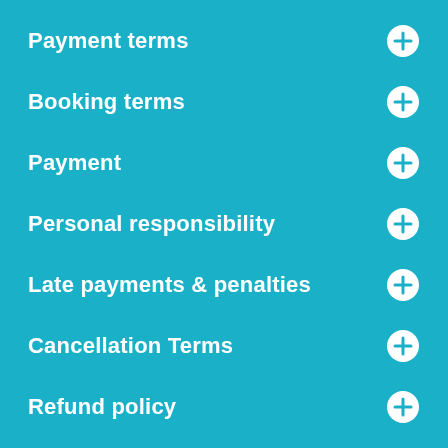Payment terms
Booking terms
Payment
Personal responsibility
Late payments & penalties
Cancellation Terms
Refund policy